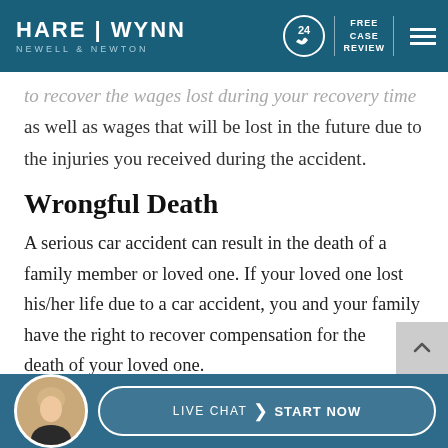HARE | WYNN NEWELL & NEWTON — FREE CASE REVIEW
to recover the wages lost during your recovery time as well as wages that will be lost in the future due to the injuries you received during the accident.
Wrongful Death
A serious car accident can result in the death of a family member or loved one. If your loved one lost his/her life due to a car accident, you and your family have the right to recover compensation for the death of your loved one.
[Figure (other): Live Chat - Start Now button with agent avatar at the bottom of the page]